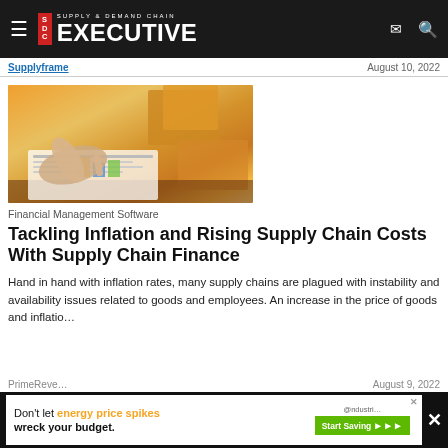Supply & Demand Chain Executive
Supplyframe    August 10, 2022
[Figure (photo): Person's hand pointing at financial documents/charts on a desk with packages in the background, warm orange tones]
Financial Management Software
Tackling Inflation and Rising Supply Chain Costs With Supply Chain Finance
Hand in hand with inflation rates, many supply chains are plagued with instability and availability issues related to goods and employees. An increase in the price of goods and inflation...
PrimeReve...    August 9, 2022